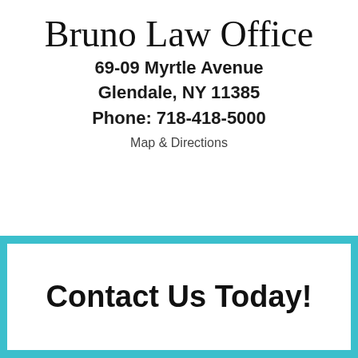Bruno Law Office
69-09 Myrtle Avenue
Glendale, NY 11385
Phone: 718-418-5000
Map & Directions
Contact Us Today!